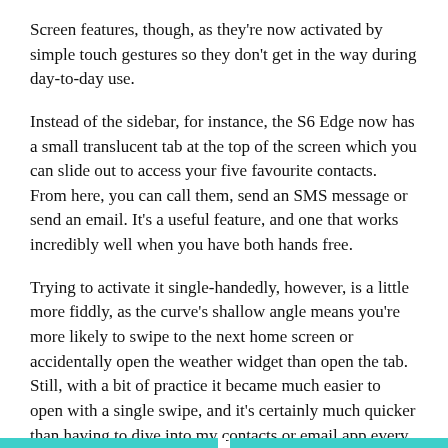Screen features, though, as they're now activated by simple touch gestures so they don't get in the way during day-to-day use.
Instead of the sidebar, for instance, the S6 Edge now has a small translucent tab at the top of the screen which you can slide out to access your five favourite contacts. From here, you can call them, send an SMS message or send an email. It's a useful feature, and one that works incredibly well when you have both hands free.
Trying to activate it single-handedly, however, is a little more fiddly, as the curve's shallow angle means you're more likely to swipe to the next home screen or accidentally open the weather widget than open the tab. Still, with a bit of practice it became much easier to open with a single swipe, and it's certainly much quicker than having to dive into my contacts or email app every time I want to get in touch with someone.